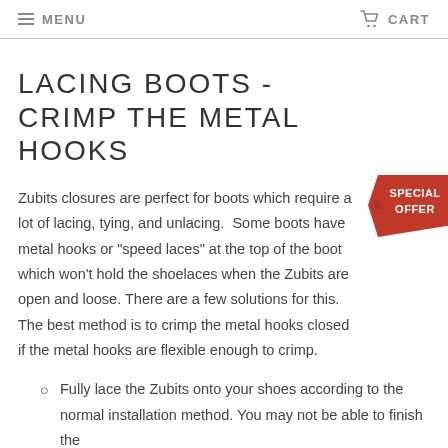MENU  CART
LACING BOOTS - CRIMP THE METAL HOOKS
Zubits closures are perfect for boots which require a lot of lacing, tying, and unlacing.  Some boots have metal hooks or "speed laces" at the top of the boot which won't hold the shoelaces when the Zubits are open and loose. There are a few solutions for this. The best method is to crimp the metal hooks closed if the metal hooks are flexible enough to crimp.
[Figure (illustration): Red diagonal banner/badge with text SPECIAL OFFER]
Fully lace the Zubits onto your shoes according to the normal installation method. You may not be able to finish the